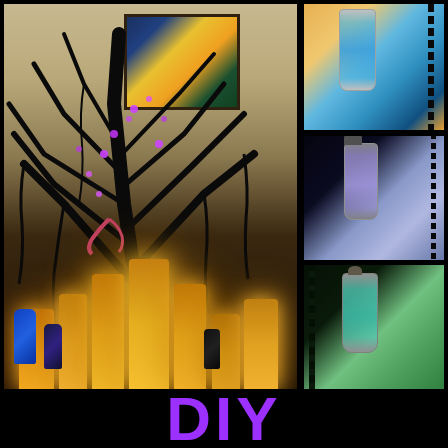[Figure (photo): Photo collage of Halloween/witch-themed DIY decoration: main large photo shows a spooky black tree centerpiece with purple fairy lights and glowing yellow/orange flameless candles arranged around the base with small potion bottles. Three smaller photos on the right show close-ups of glass potion bottles with colored liquid (blue, purple, teal) and cork stoppers with black twisted vine decorations.]
DIY